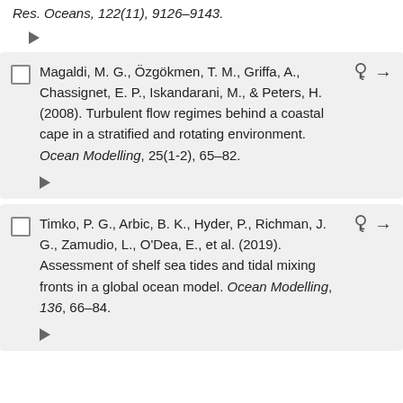Res. Oceans, 122(11), 9126–9143.
Magaldi, M. G., Özgökmen, T. M., Griffa, A., Chassignet, E. P., Iskandarani, M., & Peters, H. (2008). Turbulent flow regimes behind a coastal cape in a stratified and rotating environment. Ocean Modelling, 25(1-2), 65–82.
Timko, P. G., Arbic, B. K., Hyder, P., Richman, J. G., Zamudio, L., O'Dea, E., et al. (2019). Assessment of shelf sea tides and tidal mixing fronts in a global ocean model. Ocean Modelling, 136, 66–84.